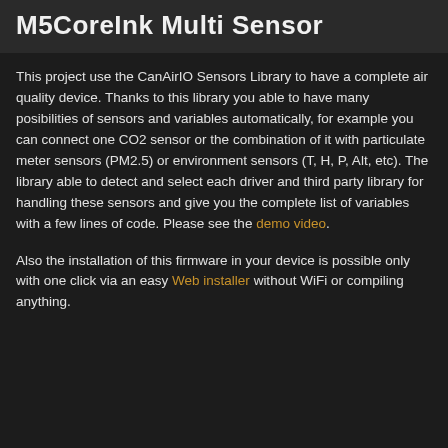M5CoreInk Multi Sensor
This project use the CanAirIO Sensors Library to have a complete air quality device. Thanks to this library you able to have many posibilities of sensors and variables automatically, for example you can connect one CO2 sensor or the combination of it with particulate meter sensors (PM2.5) or environment sensors (T, H, P, Alt, etc). The library able to detect and select each driver and third party library for handling these sensors and give you the complete list of variables with a few lines of code. Please see the demo video.
Also the installation of this firmware in your device is possible only with one click via an easy Web installer without WiFi or compiling anything.